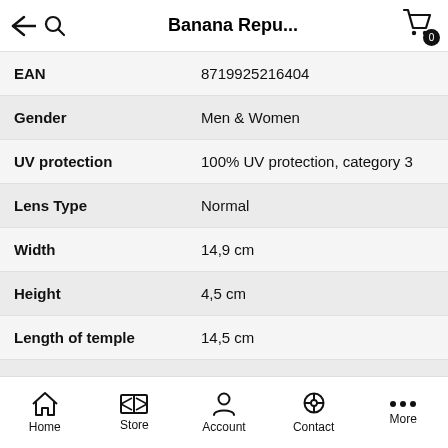Banana Repu...
| Attribute | Value |
| --- | --- |
| EAN | 8719925216404 |
| Gender | Men & Women |
| UV protection | 100% UV protection, category 3 |
| Lens Type | Normal |
| Width | 14,9 cm |
| Height | 4,5 cm |
| Length of temple | 14,5 cm |
| Color Frame | Orange |
| Color Lens | Black |
Home  Store  Account  Contact  More